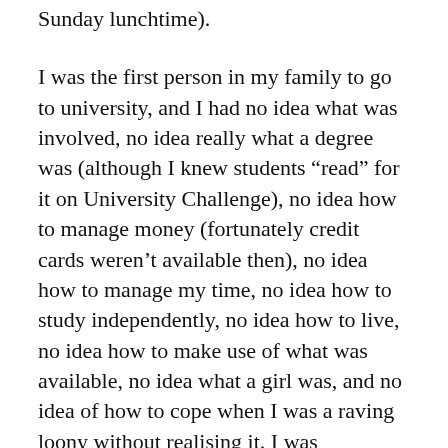Sunday lunchtime).
I was the first person in my family to go to university, and I had no idea what was involved, no idea really what a degree was (although I knew students “read” for it on University Challenge), no idea how to manage money (fortunately credit cards weren’t available then), no idea how to manage my time, no idea how to study independently, no idea how to live, no idea how to make use of what was available, no idea what a girl was, and no idea of how to cope when I was a raving loony without realising it. I was extraordinarily shy, which didn’t help. I wasn’t lazy; I tried my best, but I had no idea how to organise my time. I expected university to be like school